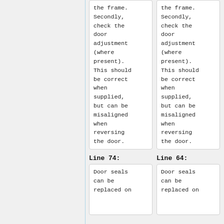the frame. Secondly, check the door adjustment (where present). This should be correct when supplied, but can be misaligned when reversing the door.
the frame. Secondly, check the door adjustment (where present). This should be correct when supplied, but can be misaligned when reversing the door.
Line 74:
Line 64:
Door seals can be replaced on
Door seals can be replaced on